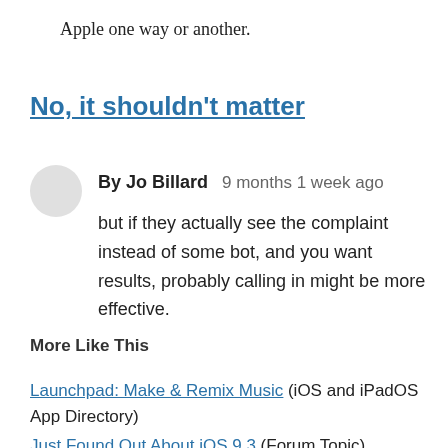Apple one way or another.
No, it shouldn't matter
By Jo Billard   9 months 1 week ago
but if they actually see the complaint instead of some bot, and you want results, probably calling in might be more effective.
More Like This
Launchpad: Make & Remix Music (iOS and iPadOS App Directory)
Just Found Out About iOS 9.3 (Forum Topic)